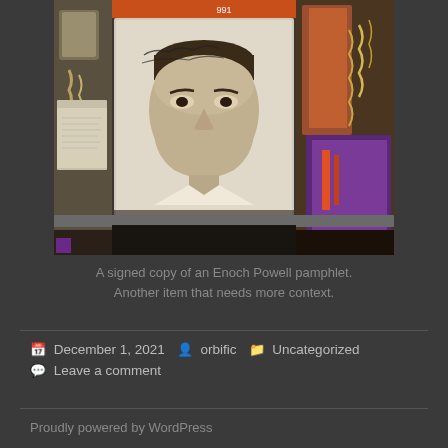[Figure (photo): A photograph showing a signed copy of an Enoch Powell pamphlet with a portrait of a man with a moustache, surrounded by various items including chains, fabric, and a purple cloth. An orange strip is visible at the top.]
A signed copy of an Enoch Powell pamphlet. Another item that needs more context.
December 1, 2021  orbific  Uncategorized  Leave a comment
Proudly powered by WordPress